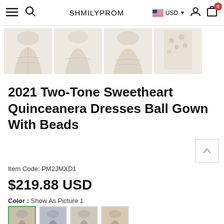SHMILYPROM
[Figure (photo): Four thumbnail images of a cream/champagne ballgown quinceanera dress showing different angles and details including the full skirt, bodice with floral appliques, and beading.]
2021 Two-Tone Sweetheart Quinceanera Dresses Ball Gown With Beads
Item Code: PM2JMXD1
$219.88 USD
Color : Show As Picture 1
[Figure (photo): Four color swatch thumbnail images of the dress in different color variants.]